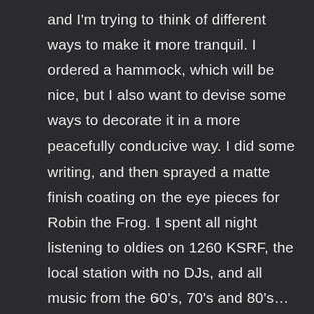and I'm trying to think of different ways to make it more tranquil. I ordered a hammock, which will be nice, but I also want to devise some ways to decorate it in a more peacefully conducive way. I did some writing, and then sprayed a matte finish coating on the eye pieces for Robin the Frog. I spent all night listening to oldies on 1260 KSRF, the local station with no DJs, and all music from the 60's, 70's and 80's… and on the AM band! Just like when I was a kid! I spent some time designing Robin's flippers, hands, legs and arms. I pinned them together and pinned them on the body, but they still looked too short. So I gave it a few more tries before settling on something that looked correct to my eye. I'll take the two arms and two legs back to Shelley to have